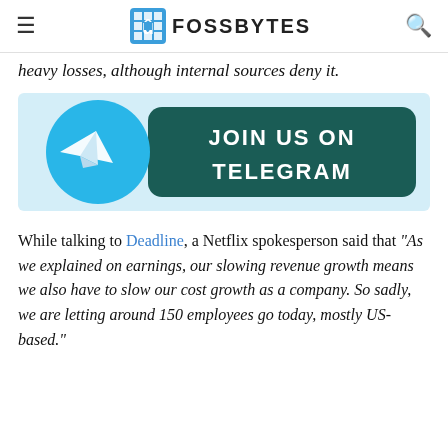FOSSBYTES
heavy losses, although internal sources deny it.
[Figure (infographic): Join us on Telegram banner with Telegram logo (blue circle with white paper plane icon) on a light blue background and dark teal rounded rectangle with white bold text JOIN US ON TELEGRAM]
While talking to Deadline, a Netflix spokesperson said that "As we explained on earnings, our slowing revenue growth means we also have to slow our cost growth as a company. So sadly, we are letting around 150 employees go today, mostly US-based."